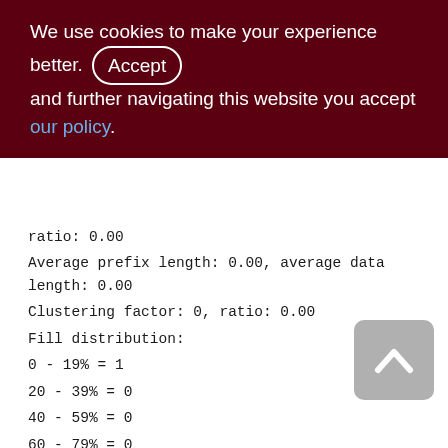We use cookies to make your experience better. By accepting and further navigating this website you accept our policy.
ratio: 0.00
Average prefix length: 0.00, average data length: 0.00
Clustering factor: 0, ratio: 0.00
Fill distribution:
0 - 19% = 1
20 - 39% = 0
40 - 59% = 0
60 - 79% = 0
80 - 99% = 0
ZPSTORNED (234)